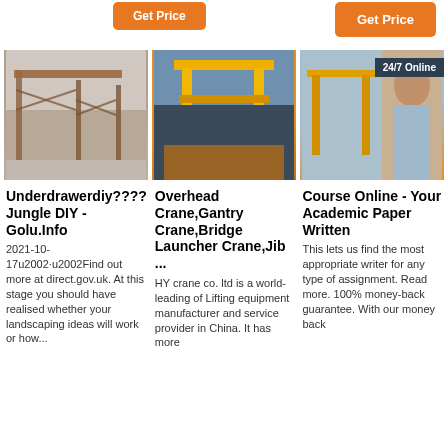[Figure (other): Two orange Get Price buttons at top of page]
[Figure (photo): Photo of a large red/rust-colored gantry crane structure]
[Figure (photo): Photo of a yellow overhead/gantry crane]
[Figure (photo): Composite: yellow crane photo on left, woman with headset (24/7 Online) on right]
Underdrawerdiy????Jungle DIY - Golu.Info
2021-10-17u2002·u2002Find out more at direct.gov.uk. At this stage you should have realised whether your landscaping ideas will work or how...
Overhead Crane,Gantry Crane,Bridge Launcher Crane,Jib ...
HY crane co. ltd is a world-leading of Lifting equipment manufacturer and service provider in China. It has more
Course Online - Your Academic Paper Written
This lets us find the most appropriate writer for any type of assignment. Read more. 100% money-back guarantee. With our money back
[Figure (other): Chat overlay: 24/7 Online badge, Click here for free chat!, QUOTATION button]